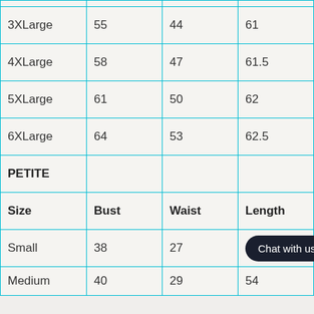| Size | Bust | Waist | Length |
| --- | --- | --- | --- |
| 3XLarge | 55 | 44 | 61 |
| 4XLarge | 58 | 47 | 61.5 |
| 5XLarge | 61 | 50 | 62 |
| 6XLarge | 64 | 53 | 62.5 |
| PETITE |  |  |  |
| Size | Bust | Waist | Length |
| Small | 38 | 27 |  |
| Medium | 40 | 29 | 54 |